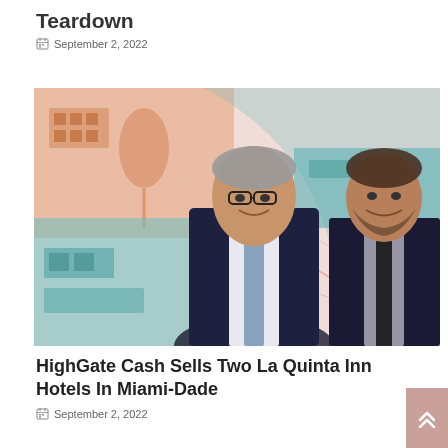Teardown
September 2, 2022
[Figure (photo): Two businessmen in dark suits posed in front of a composite background featuring orange-tinted building and teal-tinted hotel exterior]
HighGate Cash Sells Two La Quinta Inn Hotels In Miami-Dade
September 2, 2022